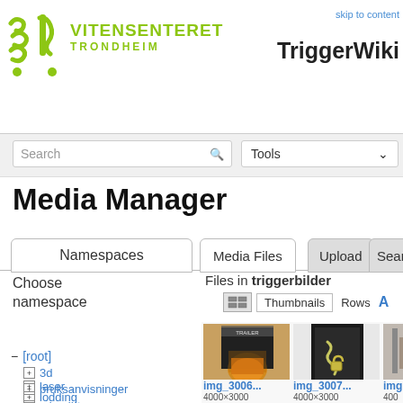[Figure (logo): Vitensenteret Trondheim logo with stylized question and exclamation marks in olive/yellow-green]
skip to content  TriggerWiki
Search
Tools
Media Manager
Namespaces
Media Files
Upload
Search
Choose namespace
Files in triggerbilder
Thumbnails  Rows
- [root]
+ 3d
+ bruksanvisninger
+ laser
+ lodding
+ microbit
[Figure (photo): Thumbnail of img_3006, a photo of a trailer or container, 4000x3000, 2018/03/16]
[Figure (photo): Thumbnail of img_3007, a photo of a door with chain and padlock, 4000x3000, 2018/03/16]
[Figure (photo): Partial thumbnail of a third image, 400... 20...]